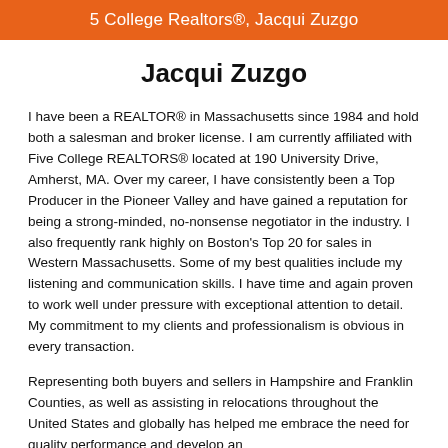5 College Realtors®, Jacqui Zuzgo
Jacqui Zuzgo
I have been a REALTOR® in Massachusetts since 1984 and hold both a salesman and broker license. I am currently affiliated with Five College REALTORS® located at 190 University Drive, Amherst, MA. Over my career, I have consistently been a Top Producer in the Pioneer Valley and have gained a reputation for being a strong-minded, no-nonsense negotiator in the industry. I also frequently rank highly on Boston's Top 20 for sales in Western Massachusetts. Some of my best qualities include my listening and communication skills. I have time and again proven to work well under pressure with exceptional attention to detail. My commitment to my clients and professionalism is obvious in every transaction.
Representing both buyers and sellers in Hampshire and Franklin Counties, as well as assisting in relocations throughout the United States and globally has helped me embrace the need for quality performance and develop an